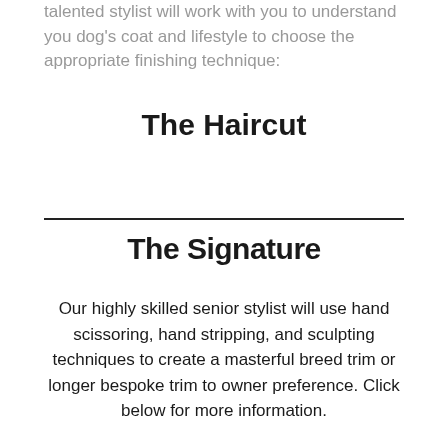talented stylist will work with you to understand you dog's coat and lifestyle to choose the appropriate finishing technique:
The Haircut
The Signature
Our highly skilled senior stylist will use hand scissoring, hand stripping, and sculpting techniques to create a masterful breed trim or longer bespoke trim to owner preference. Click below for more information.